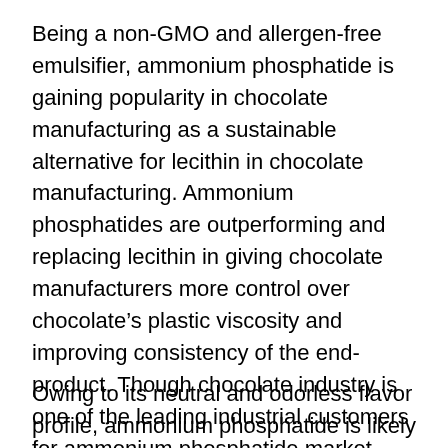Being a non-GMO and allergen-free emulsifier, ammonium phosphatide is gaining popularity in chocolate manufacturing as a sustainable alternative for lecithin in chocolate manufacturing. Ammonium phosphatides are outperforming and replacing lecithin in giving chocolate manufacturers more control over chocolate’s plastic viscosity and improving consistency of the end-product. Though chocolate industry is one of the leading industrial customers for ammonium phosphatide market players, increasing applications of ammonium phosphatide in ice cream coatings is supporting market growth
Owing to its neutral and odorless flavor profile, ammonium phosphatide is likely to witness